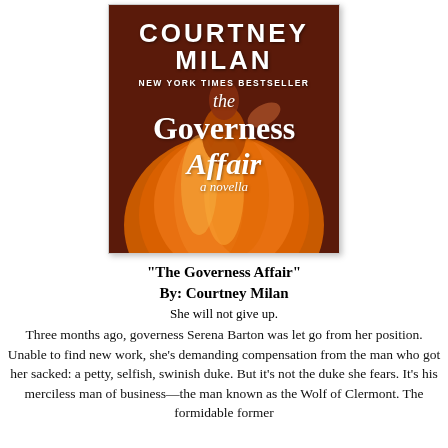[Figure (illustration): Book cover of 'The Governess Affair' by Courtney Milan. Features a woman in a large golden/orange ball gown with a dark reddish-brown background. White text at top reads 'COURTNEY MILAN' in large bold letters, below that 'NEW YORK TIMES BESTSELLER', then the title 'the Governess Affair a novella' in decorative serif font.]
"The Governess Affair"
By: Courtney Milan
She will not give up.
Three months ago, governess Serena Barton was let go from her position. Unable to find new work, she’s demanding compensation from the man who got her sacked: a petty, selfish, swinish duke. But it’s not the duke she fears. It’s his merciless man of business—the man known as the Wolf of Clermont. The formidable former